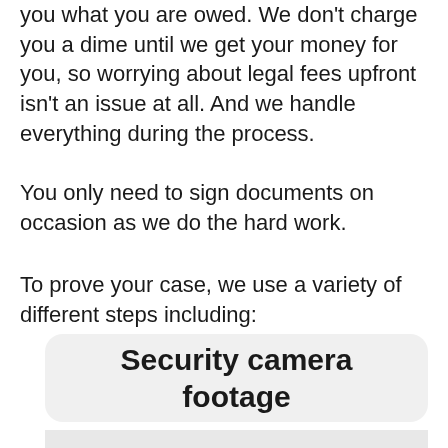you what you are owed. We don't charge you a dime until we get your money for you, so worrying about legal fees upfront isn't an issue at all. And we handle everything during the process.
You only need to sign documents on occasion as we do the hard work.
To prove your case, we use a variety of different steps including:
Security camera footage
Witness